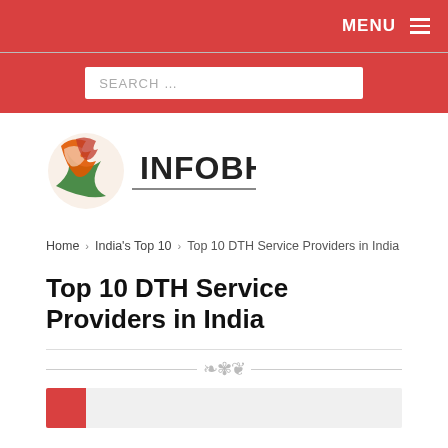MENU
[Figure (screenshot): Search bar on red background]
[Figure (logo): INFOBHARTI logo with Indian flag motif]
Home > India's Top 10 > Top 10 DTH Service Providers in India
Top 10 DTH Service Providers in India
[Figure (illustration): Decorative ornamental divider]
[Figure (screenshot): Bottom card stub with red block]